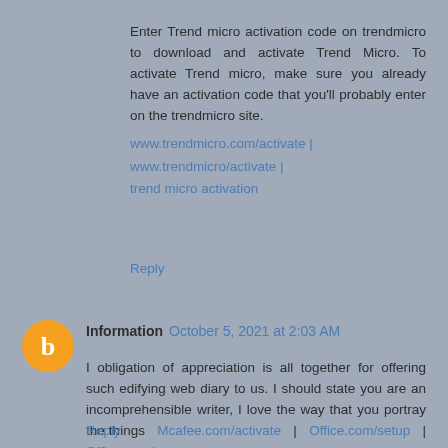Enter Trend micro activation code on trendmicro to download and activate Trend Micro. To activate Trend micro, make sure you already have an activation code that you'll probably enter on the trendmicro site.
www.trendmicro.com/activate | www.trendmicro/activate | trend micro activation
Reply
Information  October 5, 2021 at 2:03 AM
I obligation of appreciation is all together for offering such edifying web diary to us. I should state you are an incomprehensible writer, I love the way that you portray the things  Mcafee.com/activate  |  Office.com/setup  |  Office.com/setup
Reply